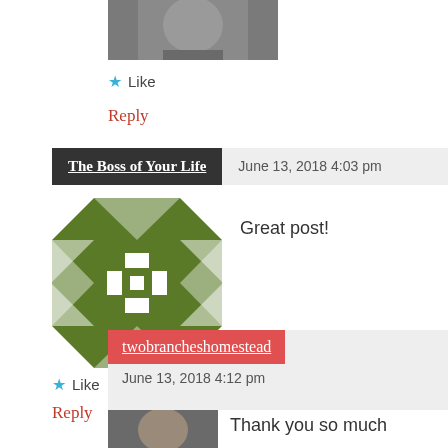[Figure (photo): Small avatar photo of a person, partially cropped at top]
★ Like
Reply
The Boss of Your Life   June 13, 2018 4:03 pm
[Figure (illustration): Green geometric mosaic/quilt pattern avatar image]
Great post!
★ Like
Reply
twobrancheshomestead
June 13, 2018 4:12 pm
[Figure (photo): Small avatar photo of a person at bottom]
Thank you so much